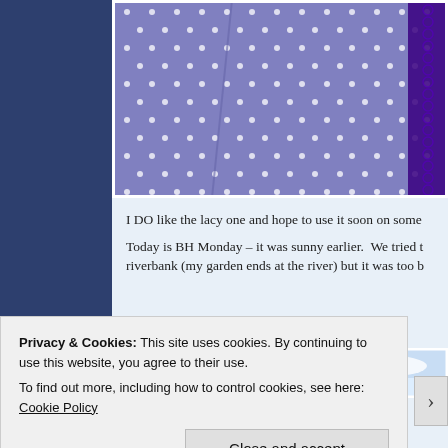[Figure (photo): Close-up photo of purple/blue polka dot fabric with a dark purple lacy zipper running vertically on the right side]
I DO like the lacy one and hope to use it soon on some
Today is BH Monday – it was sunny earlier.  We tried to riverbank (my garden ends at the river) but it was too b
[Figure (photo): Photo showing a blue sky with clouds]
Privacy & Cookies: This site uses cookies. By continuing to use this website, you agree to their use.
To find out more, including how to control cookies, see here: Cookie Policy
Close and accept
Advertisements